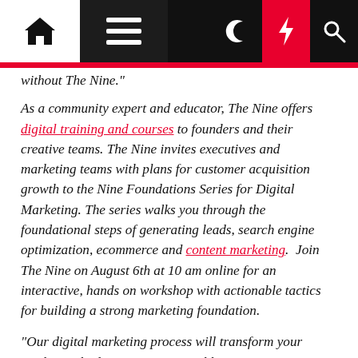Navigation bar with home, menu, moon, lightning, and search icons
without The Nine."
As a community expert and educator, The Nine offers digital training and courses to founders and their creative teams. The Nine invites executives and marketing teams with plans for customer acquisition growth to the Nine Foundations Series for Digital Marketing. The series walks you through the foundational steps of generating leads, search engine optimization, ecommerce and content marketing.  Join The Nine on August 6th at 10 am online for an interactive, hands on workshop with actionable tactics for building a strong marketing foundation.
"Our digital marketing process will transform your marketing budget into a measurable investment in your company's growth," added Paris Vega, The Nine